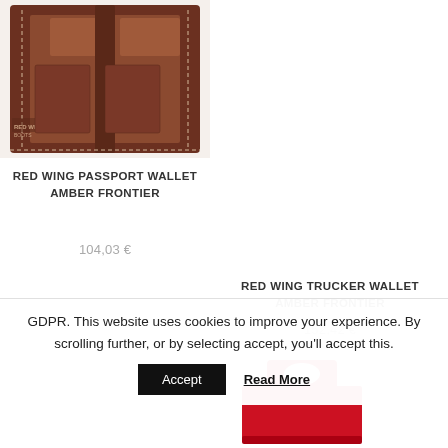[Figure (photo): Red Wing leather passport wallet open showing interior brown leather with stitching]
RED WING PASSPORT WALLET AMBER FRONTIER
104,03 €
RED WING TRUCKER WALLET AMBER FRONTIER
152,42 €
[Figure (photo): Red Wing red rectangular product packaging with a die-cut slot hole at top]
GDPR. This website uses cookies to improve your experience. By scrolling further, or by selecting accept, you'll accept this.